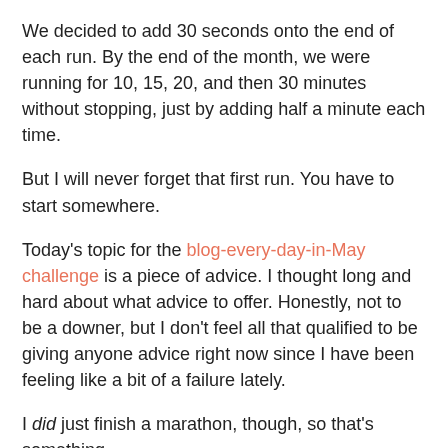We decided to add 30 seconds onto the end of each run. By the end of the month, we were running for 10, 15, 20, and then 30 minutes without stopping, just by adding half a minute each time.
But I will never forget that first run. You have to start somewhere.
Today's topic for the blog-every-day-in-May challenge is a piece of advice. I thought long and hard about what advice to offer. Honestly, not to be a downer, but I don't feel all that qualified to be giving anyone advice right now since I have been feeling like a bit of a failure lately.
I did just finish a marathon, though, so that's something.
In light of that, I wanted to offer a bit of advice on running. This is useful for anyone in any stage of running or non running, as the case may be.